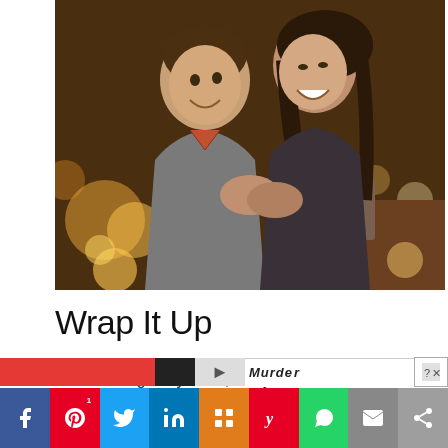[Figure (photo): A happy couple laughing together, man in grey sweater and woman in dark top, warm bokeh restaurant/bar background with amber lights]
Wrap It Up
To cut a long story short, this yes-or-no decision is demanding. If you have the slightest sign of concern and worry, the best tactic is to remain childfree purposely, yet not radically. There are individuals who sterilize
[Figure (infographic): Social media share bar with buttons: Facebook (blue), Pinterest (red, badge 1), Twitter (blue), LinkedIn (blue), Mix (orange), Yummly (red), WhatsApp (green), Email (grey), Share (grey)]